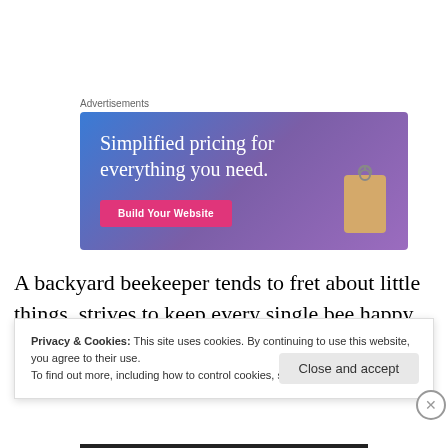Advertisements
[Figure (illustration): Advertisement banner with gradient blue-purple background. Text reads 'Simplified pricing for everything you need.' with a pink 'Build Your Website' button and a price tag graphic on the right.]
A backyard beekeeper tends to fret about little things, strives to keep every single bee happy and healthy and
Privacy & Cookies: This site uses cookies. By continuing to use this website, you agree to their use.
To find out more, including how to control cookies, see here: Cookie Policy
Close and accept